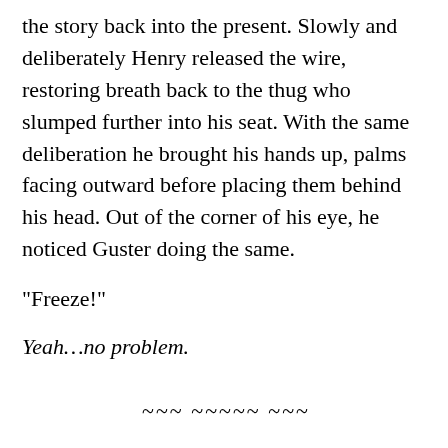the story back into the present. Slowly and deliberately Henry released the wire, restoring breath back to the thug who slumped further into his seat. With the same deliberation he brought his hands up, palms facing outward before placing them behind his head. Out of the corner of his eye, he noticed Guster doing the same.
"Freeze!"
Yeah…no problem.
~~~ ~~~~~ ~~~
With a heavy spirit, Winnie helped the boys back towards the house. She didn't want to go back inside. It was unlikely he would shoot them out here in the open. Henry's